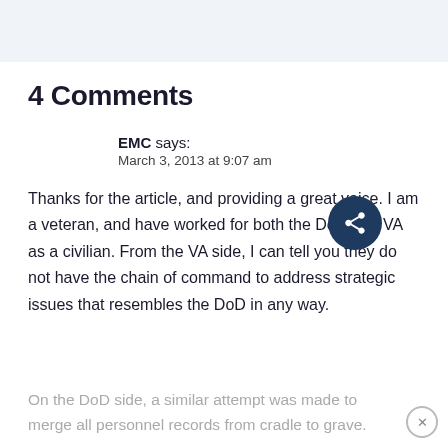4 Comments
EMC says:
March 3, 2013 at 9:07 am
Thanks for the article, and providing a great voice. I am a veteran, and have worked for both the DoD and VA as a civilian. From the VA side, I can tell you they do not have the chain of command to address strategic issues that resembles the DoD in any way.
On the DoD side, a similar attempt was made to merge all personnel records from cradle to grave.